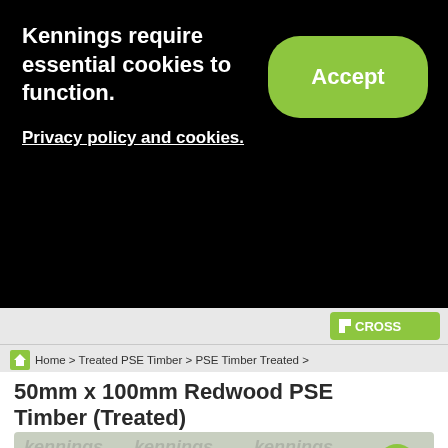Kennings require essential cookies to function.
Accept
Privacy policy and cookies.
Home > Treated PSE Timber > PSE Timber Treated >
50mm x 100mm Redwood PSE Timber (Treated)
[Figure (photo): Photo of treated redwood PSE timber planks with Kennings watermark overlay and zoom magnifier button]